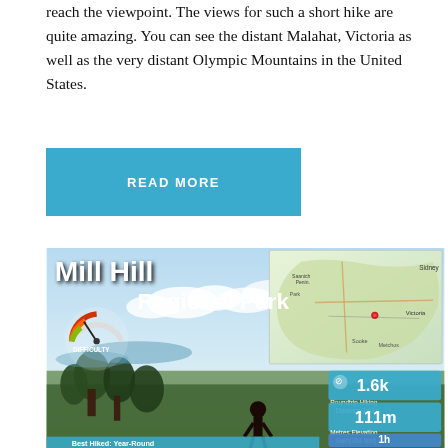reach the viewpoint.  The views for such a short hike are quite amazing.  You can see the distant Malahat, Victoria as well as the very distant Olympic Mountains in the United States.
[Figure (infographic): Mill Hill Regional Park hiking infographic showing a scenic viewpoint photo, a map of the region, difficulty gauge, and key stats: 1.6k Roundtrip Hiking Distance (1 mile), 111m Metres Elevation Gain (364 feet), 1h duration, Best Hiked: Year-Round]